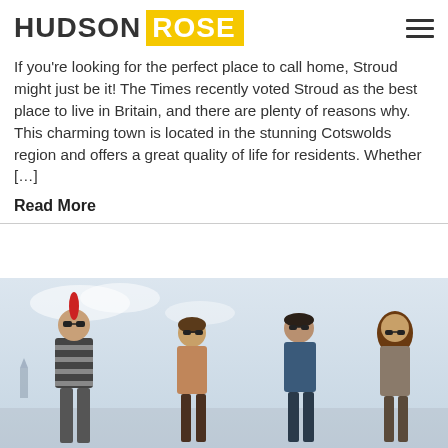HUDSON ROSE
If you’re looking for the perfect place to call home, Stroud might just be it! The Times recently voted Stroud as the best place to live in Britain, and there are plenty of reasons why. This charming town is located in the stunning Cotswolds region and offers a great quality of life for residents. Whether […]
Read More
[Figure (photo): Group of four people standing outdoors against a cloudy sky, one with a red mohawk hairstyle wearing a striped shirt, others wearing sunglasses and casual clothing]